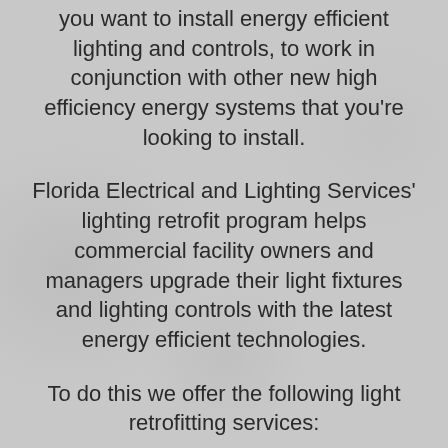you want to install energy efficient lighting and controls, to work in conjunction with other new high efficiency energy systems that you're looking to install.
Florida Electrical and Lighting Services' lighting retrofit program helps commercial facility owners and managers upgrade their light fixtures and lighting controls with the latest energy efficient technologies.
To do this we offer the following light retrofitting services: